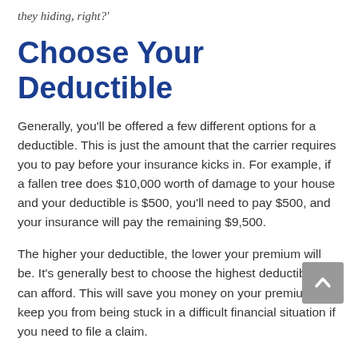they hiding, right?'
Choose Your Deductible
Generally, you'll be offered a few different options for a deductible. This is just the amount that the carrier requires you to pay before your insurance kicks in. For example, if a fallen tree does $10,000 worth of damage to your house and your deductible is $500, you'll need to pay $500, and your insurance will pay the remaining $9,500.
The higher your deductible, the lower your premium will be. It's generally best to choose the highest deductible you can afford. This will save you money on your premium and keep you from being stuck in a difficult financial situation if you need to file a claim.